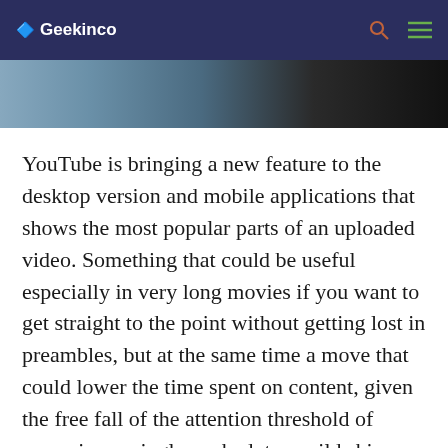🔷 Geekinco
[Figure (photo): Partial image visible at top of article, appears to be a dark photograph cropped at the bottom edge of the header area]
YouTube is bringing a new feature to the desktop version and mobile applications that shows the most popular parts of an uploaded video. Something that could be useful especially in very long movies if you want to get straight to the point without getting lost in preambles, but at the same time a move that could lower the time spent on content, given the free fall of the attention threshold of users, increasingly pushed. to a wild skip. And there are those who wonder where YouTube has (yet) got its inspiration